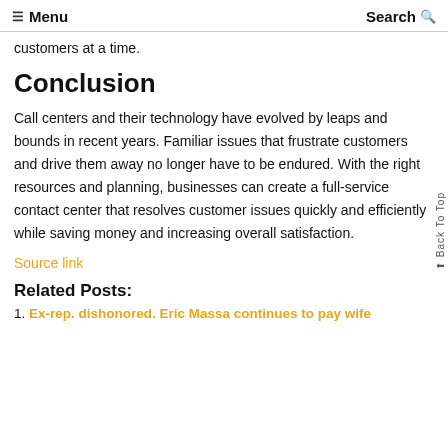☰ Menu   Search 🔍
customers at a time.
Conclusion
Call centers and their technology have evolved by leaps and bounds in recent years. Familiar issues that frustrate customers and drive them away no longer have to be endured. With the right resources and planning, businesses can create a full-service contact center that resolves customer issues quickly and efficiently while saving money and increasing overall satisfaction.
Source link
Related Posts:
Ex-rep. dishonored. Eric Massa continues to pay wife